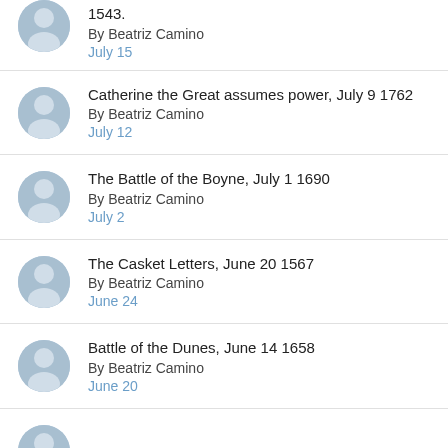1543. By Beatriz Camino July 15
Catherine the Great assumes power, July 9 1762 By Beatriz Camino July 12
The Battle of the Boyne, July 1 1690 By Beatriz Camino July 2
The Casket Letters, June 20 1567 By Beatriz Camino June 24
Battle of the Dunes, June 14 1658 By Beatriz Camino June 20
(partial avatar, cut off at bottom)